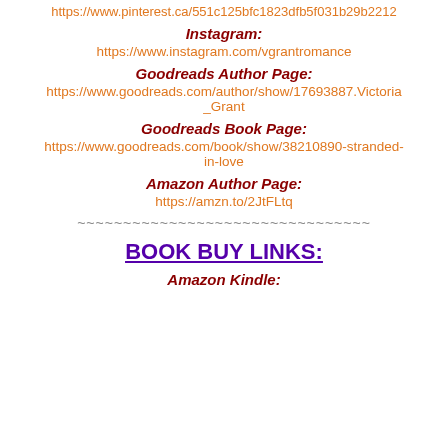https://www.pinterest.ca/551c125bfc1823dfb5f031b29b2212
Instagram:
https://www.instagram.com/vgrantromance
Goodreads Author Page:
https://www.goodreads.com/author/show/17693887.Victoria_Grant
Goodreads Book Page:
https://www.goodreads.com/book/show/38210890-stranded-in-love
Amazon Author Page:
https://amzn.to/2JtFLtq
~~~~~~~~~~~~~~~~~~~~~~~~~~~~~~~~
BOOK BUY LINKS:
Amazon Kindle: